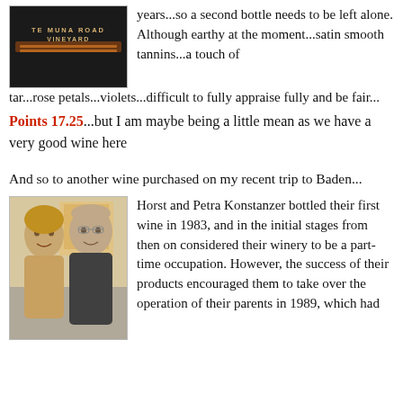[Figure (photo): Close-up photo of a wine bottle label reading 'Te Muna Road Vineyard']
years...so a second bottle needs to be left alone. Although earthy at the moment...satin smooth tannins...a touch of tar...rose petals...violets...difficult to fully appraise fully and be fair...
Points 17.25...but I am maybe being a little mean as we have a very good wine here
And so to another wine purchased on my recent trip to Baden...
[Figure (photo): Photo of Horst and Petra Konstanzer, a couple smiling at the camera]
Horst and Petra Konstanzer bottled their first wine in 1983, and in the initial stages from then on considered their winery to be a part-time occupation. However, the success of their products encouraged them to take over the operation of their parents in 1989, which had